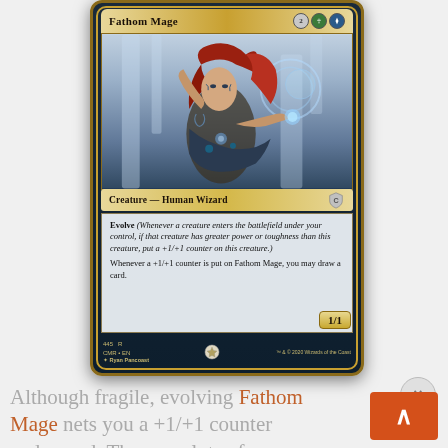[Figure (illustration): Magic: The Gathering card 'Fathom Mage' — a gold-bordered multicolor card showing a red-haired woman with tattoos casting magic near a waterfall. Card text: Creature — Human Wizard. Evolve (Whenever a creature enters the battlefield under your control, if that creature has greater power or toughness than this creature, put a +1/+1 counter on this creature.) Whenever a +1/+1 counter is put on Fathom Mage, you may draw a card. P/T: 1/1. Set: CMR, card number 445, Rarity: R, Artist: Ryan Pancoast, © 2020 Wizards of the Coast.]
Although fragile, evolving Fathom Mage nets you a +1/+1 counter and a card. There are lots of ways